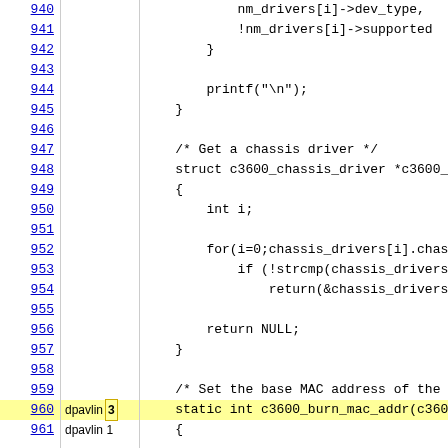[Figure (screenshot): Source code viewer showing C code lines 940-961 with line numbers on the left, annotation columns (dpavlin, count), and code content on the right. Line 960 is highlighted in yellow with annotation 'dpavlin 3'.]